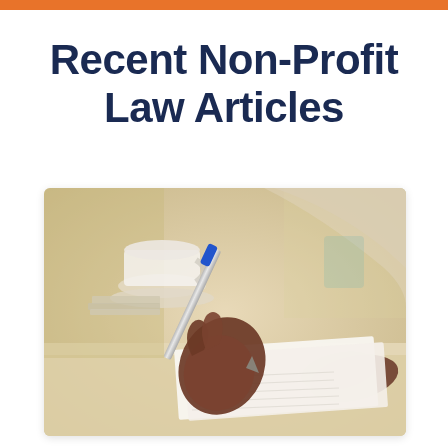Recent Non-Profit Law Articles
[Figure (photo): Close-up of a person's hand writing on paper with a blue pen, with a coffee cup and blurred background visible, suggesting a legal or office writing context.]